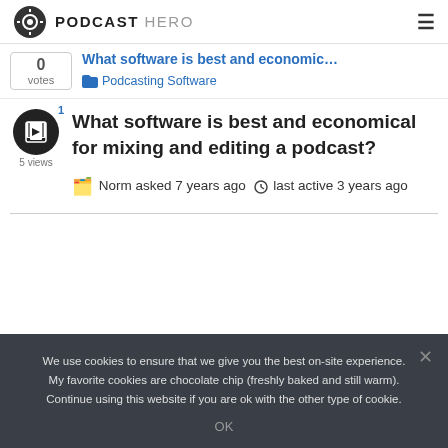PODCAST HERO
0 votes  What software is best and economic...  Podcasting Software
What software is best and economical for mixing and editing a podcast?
Norm asked 7 years ago  last active 3 years ago
We use cookies to ensure that we give you the best on-site experience. My favorite cookies are chocolate chip (freshly baked and still warm). Continue using this website if you are ok with the other type of cookie.
OK